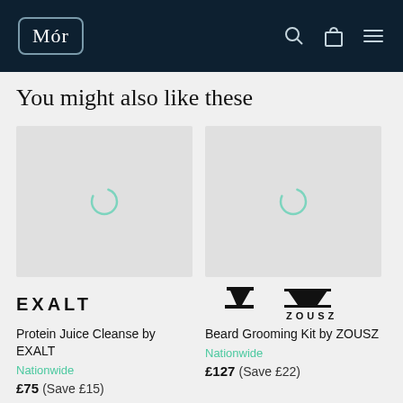Mór
You might also like these
[Figure (photo): Loading placeholder image (grey rectangle with spinner circle) for product 1]
Protein Juice Cleanse by EXALT
Nationwide
£75 (Save £15)
[Figure (photo): Loading placeholder image (grey rectangle with spinner circle) for product 2]
Beard Grooming Kit by ZOUSZ
Nationwide
£127 (Save £22)